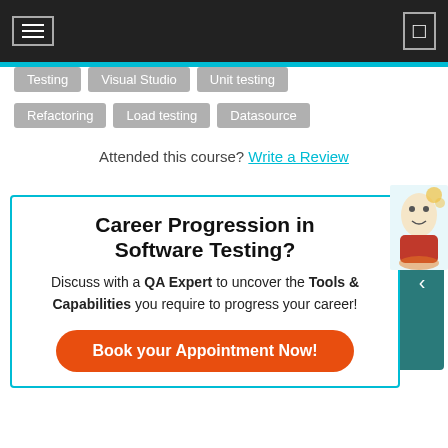☰  (navigation bar with hamburger menu and icon)
Testing
Visual Studio
Unit testing
Refactoring
Load testing
Datasource
Attended this course? Write a Review
Career Progression in Software Testing?
Discuss with a QA Expert to uncover the Tools & Capabilities you require to progress your career!
Book your Appointment Now!